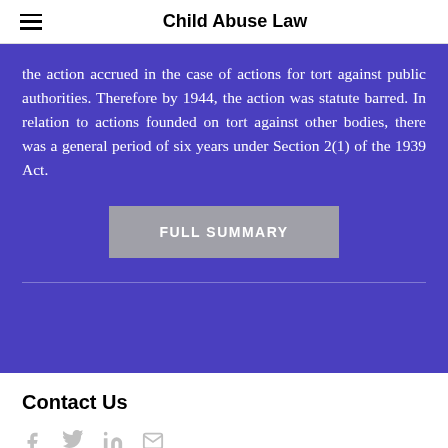Child Abuse Law
the action accrued in the case of actions for tort against public authorities. Therefore by 1944, the action was statute barred. In relation to actions founded on tort against other bodies, there was a general period of six years under Section 2(1) of the 1939 Act.
FULL SUMMARY
Contact Us